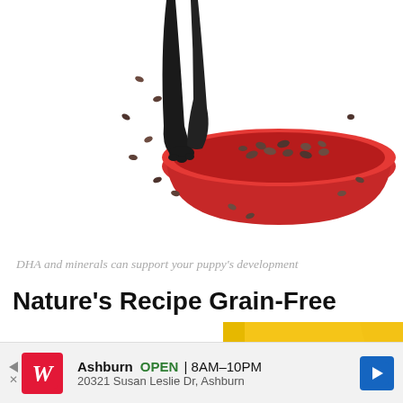[Figure (photo): Dog eating from a red bowl with kibble scattered around, cropped showing lower body and paws, on white background]
DHA and minerals can support your puppy's development
Nature's Recipe Grain-Free Easy to Digest Dry Dog Food with Real Meat, Sweet Potato & Pumpkin
[Figure (photo): Yellow dog food bag labeled 'NATURAL DOG FOOD' with barcode visible at bottom left]
[Figure (other): Walgreens advertisement banner: Ashburn OPEN 8AM-10PM, 20321 Susan Leslie Dr, Ashburn]